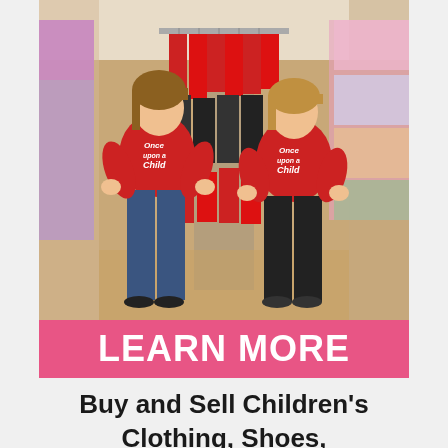[Figure (photo): Two women wearing red 'Once Upon a Child' branded t-shirts standing in a children's clothing store aisle with racks of colorful clothes on both sides and hangers overhead]
LEARN MORE
Buy and Sell Children's Clothing, Shoes,